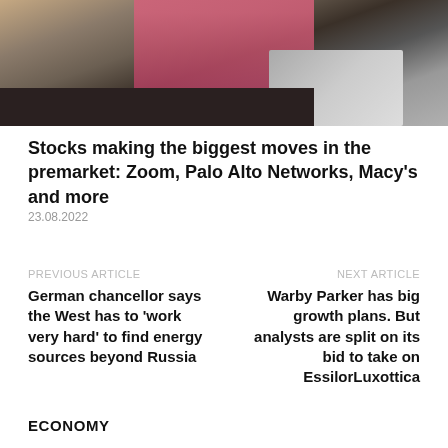[Figure (photo): Person working at a desk with a laptop in a home office setting]
Stocks making the biggest moves in the premarket: Zoom, Palo Alto Networks, Macy's and more
23.08.2022
PREVIOUS ARTICLE
German chancellor says the West has to 'work very hard' to find energy sources beyond Russia
NEXT ARTICLE
Warby Parker has big growth plans. But analysts are split on its bid to take on EssilorLuxottica
ECONOMY